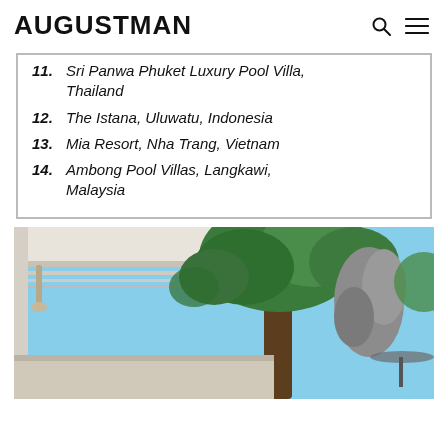AUGUSTMAN
11. Sri Panwa Phuket Luxury Pool Villa, Thailand
12. The Istana, Uluwatu, Indonesia
13. Mia Resort, Nha Trang, Vietnam
14. Ambong Pool Villas, Langkawi, Malaysia
[Figure (photo): Outdoor resort area with modern pergola/overhang structure, trees with lush green foliage, large rocks, and umbrella/seating area visible in background under blue sky]